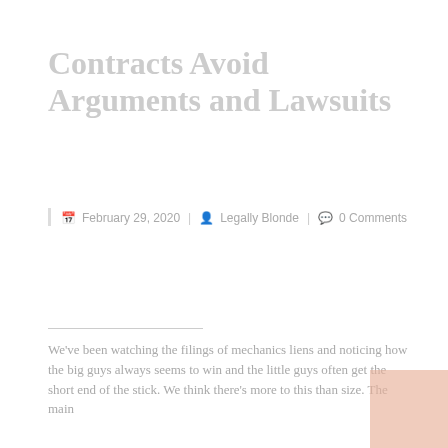Contracts Avoid Arguments and Lawsuits
February 29, 2020 | Legally Blonde | 0 Comments
We've been watching the filings of mechanics liens and noticing how the big guys always seems to win and the little guys often get the short end of the stick. We think there's more to this than size. The main
Read Full Text